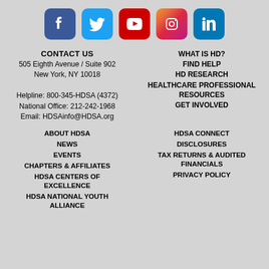[Figure (illustration): Social media icons row: Facebook, Twitter, YouTube, Instagram, LinkedIn]
CONTACT US
505 Eighth Avenue / Suite 902
New York, NY 10018
Helpline: 800-345-HDSA (4372)
National Office: 212-242-1968
Email: HDSAinfo@HDSA.org
WHAT IS HD?
FIND HELP
HD RESEARCH
HEALTHCARE PROFESSIONAL RESOURCES
GET INVOLVED
ABOUT HDSA
NEWS
EVENTS
CHAPTERS & AFFILIATES
HDSA CENTERS OF EXCELLENCE
HDSA NATIONAL YOUTH ALLIANCE
HDSA CONNECT
DISCLOSURES
TAX RETURNS & AUDITED FINANCIALS
PRIVACY POLICY